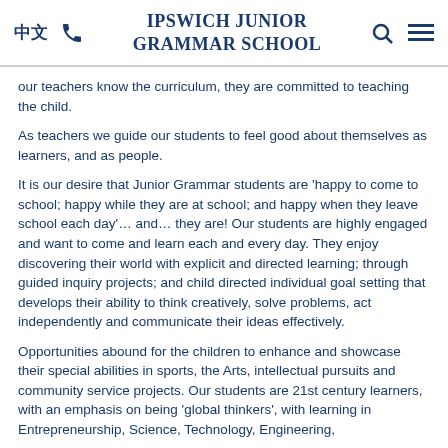中文  [phone icon]  IPSWICH JUNIOR GRAMMAR SCHOOL  [search icon]  [menu icon]
our teachers know the curriculum, they are committed to teaching the child.
As teachers we guide our students to feel good about themselves as learners, and as people.
It is our desire that Junior Grammar students are 'happy to come to school; happy while they are at school; and happy when they leave school each day'… and… they are! Our students are highly engaged and want to come and learn each and every day. They enjoy discovering their world with explicit and directed learning; through guided inquiry projects; and child directed individual goal setting that develops their ability to think creatively, solve problems, act independently and communicate their ideas effectively.
Opportunities abound for the children to enhance and showcase their special abilities in sports, the Arts, intellectual pursuits and community service projects. Our students are 21st century learners, with an emphasis on being 'global thinkers', with learning in Entrepreneurship, Science, Technology, Engineering,